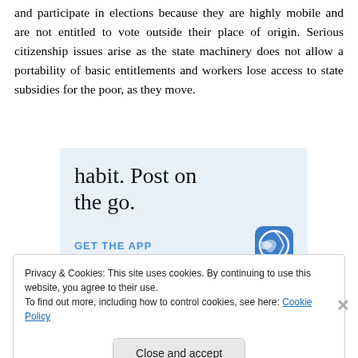and participate in elections because they are highly mobile and are not entitled to vote outside their place of origin. Serious citizenship issues arise as the state machinery does not allow a portability of basic entitlements and workers lose access to state subsidies for the poor, as they move.
[Figure (other): WordPress advertisement banner with text 'habit. Post on the go.' and 'GET THE APP' link with WordPress logo]
Privacy & Cookies: This site uses cookies. By continuing to use this website, you agree to their use.
To find out more, including how to control cookies, see here: Cookie Policy